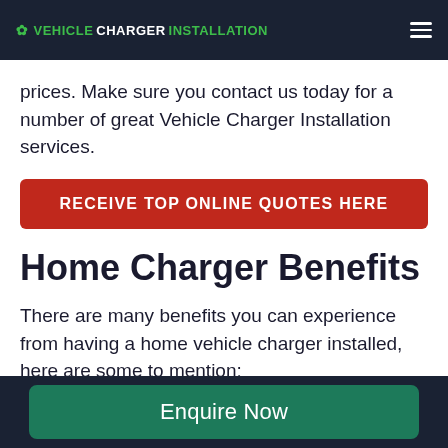VEHICLECHARGERINSTALLATION
prices. Make sure you contact us today for a number of great Vehicle Charger Installation services.
RECEIVE TOP ONLINE QUOTES HERE
Home Charger Benefits
There are many benefits you can experience from having a home vehicle charger installed, here are some to mention:
Measuring the charging rate and power
Enquire Now